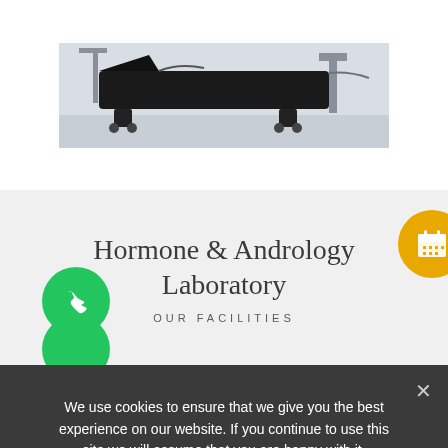[Figure (photo): Medical exam table/treatment chair with medical equipment in a clinical white room]
Hormone & Andrology Laboratory
OUR FACILITIES
[Figure (illustration): Gold circular calendar icon button (floating action button)]
[Figure (illustration): Green circular phone/WhatsApp icon button (floating action button)]
[Figure (illustration): Partially visible green circular icon button at bottom]
We use cookies to ensure that we give you the best experience on our website. If you continue to use this site we will assume that you are happy with it.
Ok